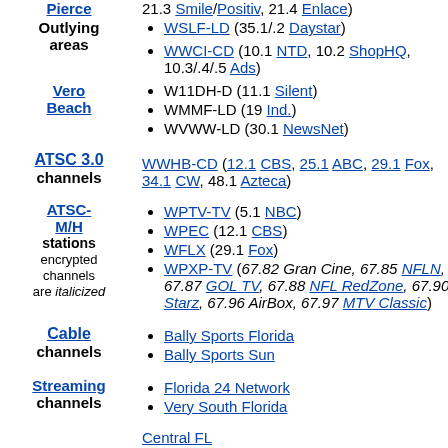Pierce / Outlying areas — bullet list: 21.3 Smile/Positiv, 21.4 Enlace; WSLF-LD (35.1/.2 Daystar); WWCI-CD (10.1 NTD, 10.2 ShopHQ, 10.3/.4/.5 Ads)
Vero Beach — bullet list: W11DH-D (11.1 Silent); WMMF-LD (19 Ind.); WVWW-LD (30.1 NewsNet)
ATSC 3.0 channels — WWHB-CD (12.1 CBS, 25.1 ABC, 29.1 Fox, 34.1 CW, 48.1 Azteca)
ATSC-M/H stations encrypted channels are italicized — WPTV-TV (5.1 NBC); WPEC (12.1 CBS); WFLX (29.1 Fox); WPXP-TV (67.82 Gran Cine, 67.85 NFLN, 67.87 GOL TV, 67.88 NFL RedZone, 67.90 Starz, 67.96 AirBox, 67.97 MTV Classic)
Cable channels — Bally Sports Florida; Bally Sports Sun
Streaming channels — Florida 24 Network; Very South Florida
Central FL